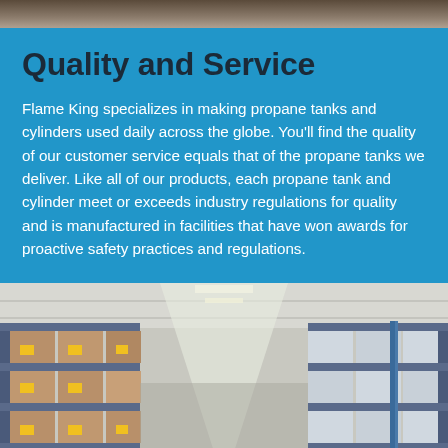[Figure (photo): Decorative top bar with wood/stone texture background]
Quality and Service
Flame King specializes in making propane tanks and cylinders used daily across the globe. You'll find the quality of our customer service equals that of the propane tanks we deliver. Like all of our products, each propane tank and cylinder meet or exceeds industry regulations for quality and is manufactured in facilities that have won awards for proactive safety practices and regulations.
[Figure (photo): Interior of a large warehouse with shelves stacked with cardboard boxes labeled with yellow tags, blue metal racking visible, bright overhead lighting running down the center aisle.]